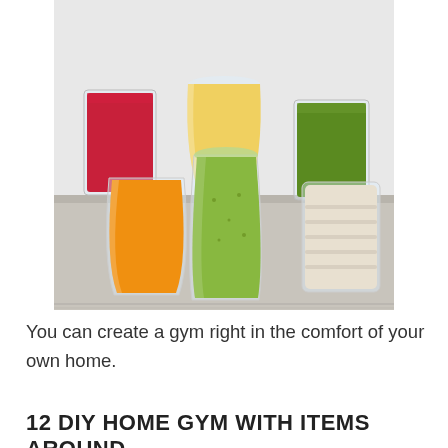[Figure (photo): Five colorful smoothie/juice glasses arranged on a surface: a red juice in a square glass (left), a yellow smoothie in a tall flute glass (center back), a green smoothie in a tall glass (right back), an orange juice in a tapered glass (front left), a large green smoothie in a wide jar (front center), and a white/cream smoothie in a ridged glass (front right). Light gray background.]
You can create a gym right in the comfort of your own home.
12 DIY HOME GYM WITH ITEMS AROUND